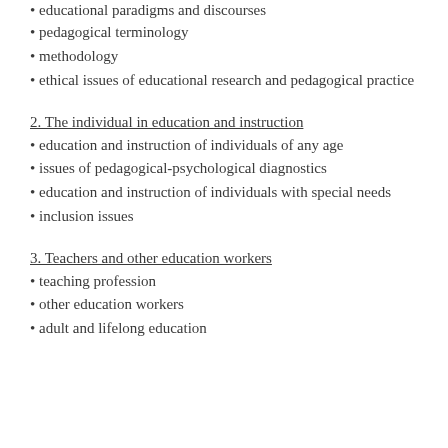• educational paradigms and discourses
• pedagogical terminology
• methodology
• ethical issues of educational research and pedagogical practice
2. The individual in education and instruction
• education and instruction of individuals of any age
• issues of pedagogical-psychological diagnostics
• education and instruction of individuals with special needs
• inclusion issues
3. Teachers and other education workers
• teaching profession
• other education workers
• adult and lifelong education